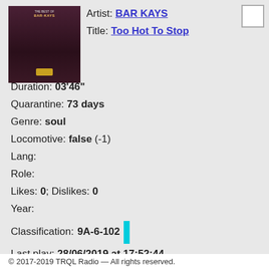[Figure (illustration): Album art thumbnail for Bar Kays - The Best Of, dark maroon cover with gold badge]
Artist: BAR KAYS
Title: Too Hot To Stop
Duration: 03'46"
Quarantine: 73 days
Genre: soul
Locomotive: false (-1)
Lang:
Role:
Likes: 0; Dislikes: 0
Year:
Classification: 9A-6-102
Last play: 28/06/2019 at 17:52:44
[Figure (illustration): Album art thumbnail for Paul Personne - Chez moi, coastal scene]
Artist: Paul Personne
Title: Chez moi
© 2017-2019 TRQL Radio — All rights reserved.